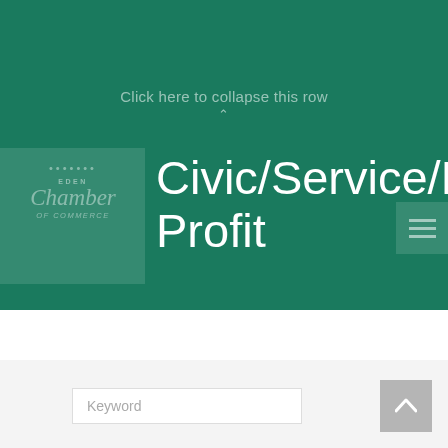Click here to collapse this row
[Figure (logo): Eden Chamber of Commerce logo, white on teal background]
Civic/Service/Non-Profit
[Figure (other): Menu/hamburger icon with three horizontal lines]
Keyword